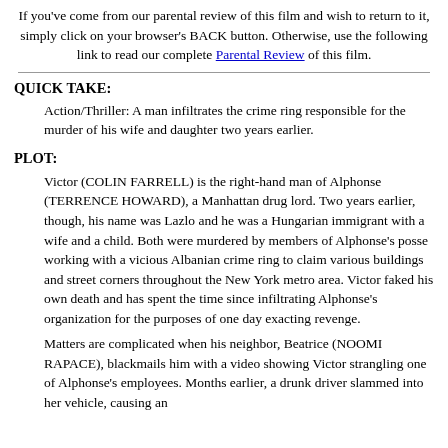If you've come from our parental review of this film and wish to return to it, simply click on your browser's BACK button. Otherwise, use the following link to read our complete Parental Review of this film.
QUICK TAKE:
Action/Thriller: A man infiltrates the crime ring responsible for the murder of his wife and daughter two years earlier.
PLOT:
Victor (COLIN FARRELL) is the right-hand man of Alphonse (TERRENCE HOWARD), a Manhattan drug lord. Two years earlier, though, his name was Lazlo and he was a Hungarian immigrant with a wife and a child. Both were murdered by members of Alphonse's posse working with a vicious Albanian crime ring to claim various buildings and street corners throughout the New York metro area. Victor faked his own death and has spent the time since infiltrating Alphonse's organization for the purposes of one day exacting revenge.
Matters are complicated when his neighbor, Beatrice (NOOMI RAPACE), blackmails him with a video showing Victor strangling one of Alphonse's employees. Months earlier, a drunk driver slammed into her vehicle, causing an